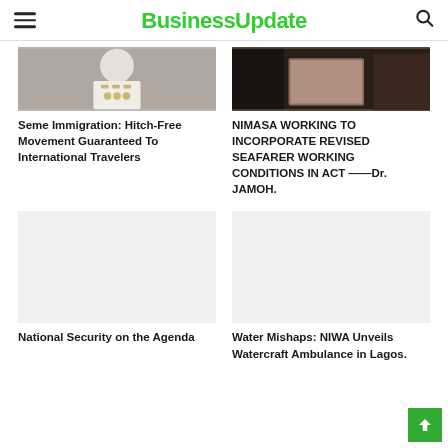BusinessUpdate
[Figure (photo): Person in white military/official uniform with gold buttons and badges]
[Figure (photo): Dark indoor scene, possibly a conference or office setting]
Seme Immigration: Hitch-Free Movement Guaranteed To International Travelers
NIMASA WORKING TO INCORPORATE REVISED SEAFARER WORKING CONDITIONS IN ACT ——Dr. JAMOH.
[Figure (photo): Placeholder image (light gray)]
[Figure (photo): Placeholder image (light gray)]
National Security on the Agenda
Water Mishaps: NIWA Unveils Watercraft Ambulance in Lagos.